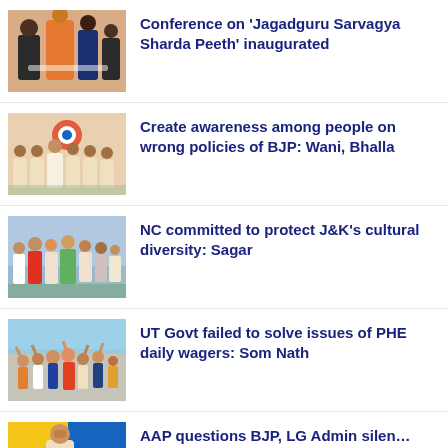[Figure (photo): Photo of people at a conference event with saffron-robed figure]
Conference on ‘Jagadguru Sarvagya Sharda Peeth’ inaugurated
[Figure (photo): Photo of group of politicians, possibly Congress party members]
Create awareness among people on wrong policies of BJP: Wani, Bhalla
[Figure (photo): Photo of group of people seated, political gathering]
NC committed to protect J&K’s cultural diversity: Sagar
[Figure (photo): Photo of crowd of people with hands raised]
UT Govt failed to solve issues of PHE daily wagers: Som Nath
[Figure (photo): Photo of speaker with colorful background]
AAP questions BJP, LG Admin silen... agitation of Jal Shakti Deptt daily w...